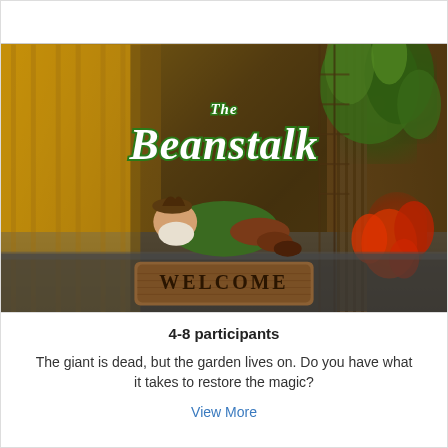[Figure (photo): Photo of a garden gnome figurine sleeping on a 'WELCOME' mat, with the text 'The Beanstalk' overlaid in white cursive letters with green outline. Background shows warm wooden tones, green vines, and red flowers.]
4-8 participants
The giant is dead, but the garden lives on. Do you have what it takes to restore the magic?
View More